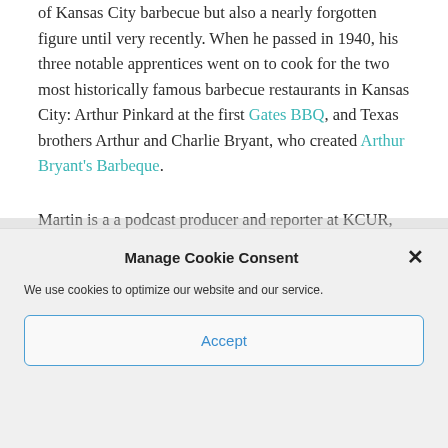of Kansas City barbecue but also a nearly forgotten figure until very recently. When he passed in 1940, his three notable apprentices went on to cook for the two most historically famous barbecue restaurants in Kansas City: Arthur Pinkard at the first Gates BBQ, and Texas brothers Arthur and Charlie Bryant, who created Arthur Bryant's Barbeque.
Martin is a a podcast producer and reporter at KCUR, and an earlier version of this story was nominated for a [James Beard Award].
Manage Cookie Consent
We use cookies to optimize our website and our service.
Accept